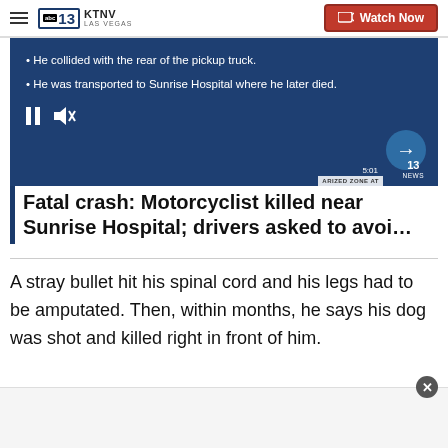KTNV LAS VEGAS — Watch Now
[Figure (screenshot): Video thumbnail showing news broadcast with bullet points: He collided with the rear of the pickup truck. He was transported to Sunrise Hospital where he later died. Video controls (pause, mute) visible. Timestamp 5:01 and 13 NEWS badge visible.]
Fatal crash: Motorcyclist killed near Sunrise Hospital; drivers asked to avoi…
A stray bullet hit his spinal cord and his legs had to be amputated. Then, within months, he says his dog was shot and killed right in front of him.